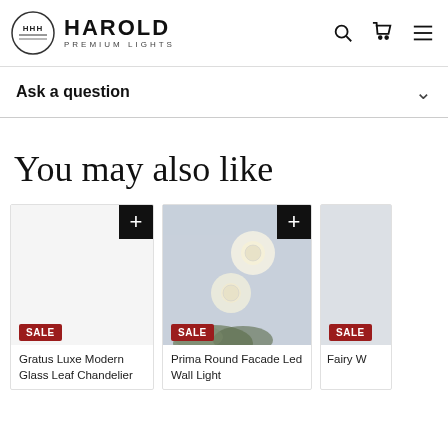HAROLD PREMIUM LIGHTS — navigation header with search, cart, and menu icons
Ask a question
You may also like
[Figure (photo): Product card 1: Gratus Luxe Modern Glass Leaf Chandelier — white background product image, SALE badge, plus add button]
Gratus Luxe Modern Glass Leaf Chandelier
[Figure (photo): Product card 2: Prima Round Facade Led Wall Light — outdoor wall light photo with two round globe lights on white wall, SALE badge, plus add button]
Prima Round Facade Led Wall Light
[Figure (photo): Product card 3: Fairy W... — partially visible card with SALE badge, light grey background]